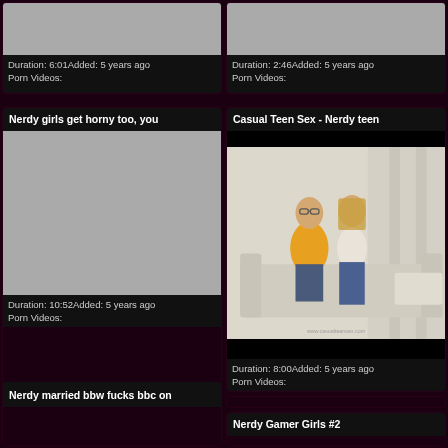[Figure (screenshot): Video thumbnail placeholder (grey) for first video, cropped at top]
Duration: 6:01Added: 5 years ago
Porn Videos:
[Figure (screenshot): Video thumbnail placeholder (grey) for second video, cropped at top]
Duration: 2:46Added: 5 years ago
Porn Videos:
Nerdy girls get horny too, you
[Figure (screenshot): Large grey video thumbnail placeholder]
Duration: 10:52Added: 5 years ago
Porn Videos:
Casual Teen Sex - Nerdy teen
[Figure (photo): Photo of a couple on a couch; man in yellow shirt with glasses, woman in jeans]
Duration: 8:00Added: 5 years ago
Porn Videos:
Nerdy married bbw fucks bbc on
Nerdy Gamer Girls #2
[Figure (screenshot): Bottom-left video thumbnail, partially visible]
[Figure (screenshot): Bottom-right video thumbnail, partially visible]